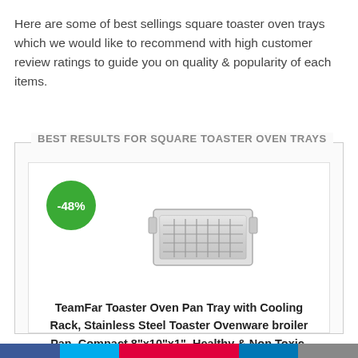Here are some of best sellings square toaster oven trays which we would like to recommend with high customer review ratings to guide you on quality & popularity of each items.
BEST RESULTS FOR SQUARE TOASTER OVEN TRAYS
[Figure (photo): Product card showing a stainless steel toaster oven pan tray with cooling rack, with a -48% green discount badge]
TeamFar Toaster Oven Pan Tray with Cooling Rack, Stainless Steel Toaster Ovenware broiler Pan, Compact 8"x10"x1", Healthy & Non Toxic, Rust Free & Easy Clean –